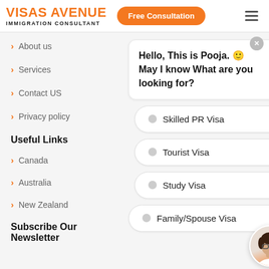VISAS AVENUE IMMIGRATION CONSULTANT
About us
Services
Contact US
Privacy policy
Useful Links
Canada
Australia
New Zealand
Subscribe Our Newsletter
Hello, This is Pooja. 🙂 May I know What are you looking for?
Skilled PR Visa
Tourist Visa
Study Visa
Family/Spouse Visa